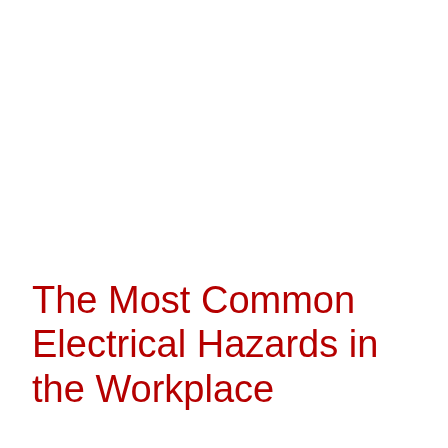The Most Common Electrical Hazards in the Workplace